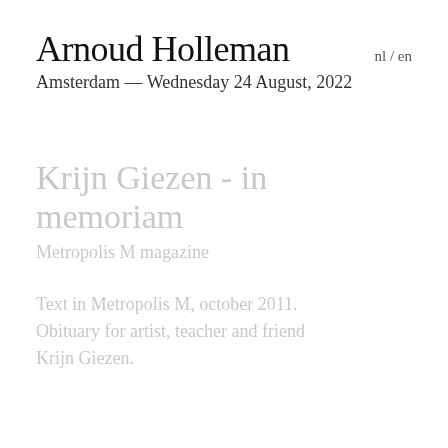Arnoud Holleman
nl / en
Amsterdam — Wednesday 24 August, 2022
Krijn Giezen - in memoriam
Metropolis M magazine
Text in Metropolis M, october 2011. Obituary for artist, teacher and friend Krijn Giezen.